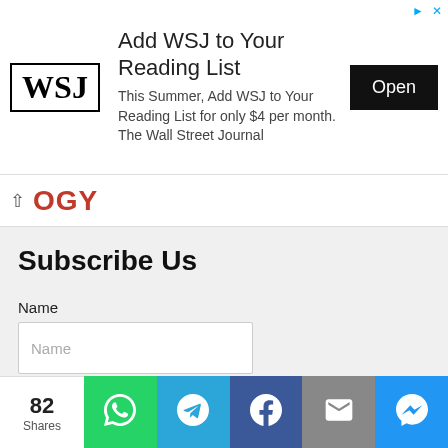[Figure (screenshot): WSJ advertisement banner: WSJ logo, headline 'Add WSJ to Your Reading List', subtext 'This Summer, Add WSJ to Your Reading List for only $4 per month. The Wall Street Journal', and a black 'Open' button.]
OGY
Subscribe Us
Name
Name
Email
Email
Submit
82 Shares